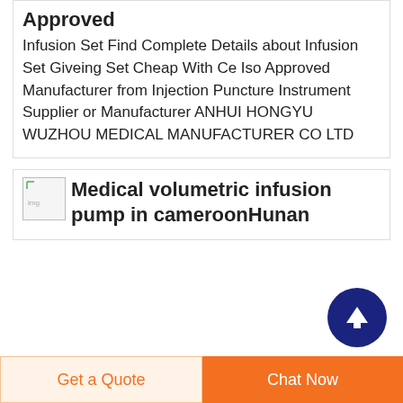Approved
Infusion Set Find Complete Details about Infusion Set Giveing Set Cheap With Ce Iso Approved Manufacturer from Injection Puncture Instrument Supplier or Manufacturer ANHUI HONGYU WUZHOU MEDICAL MANUFACTURER CO LTD
[Figure (photo): Small broken/placeholder product image icon]
Medical volumetric infusion pump in cameroonHunan
[Figure (other): Scroll-to-top circular dark blue button with upward arrow]
Get a Quote
Chat Now